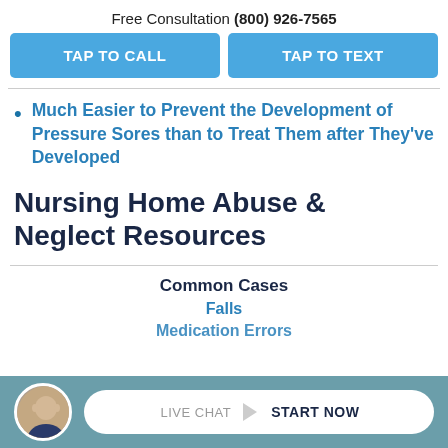Free Consultation (800) 926-7565
TAP TO CALL
TAP TO TEXT
Much Easier to Prevent the Development of Pressure Sores than to Treat Them after They've Developed
Nursing Home Abuse & Neglect Resources
Common Cases
Falls
Medication Errors
LIVE CHAT  START NOW